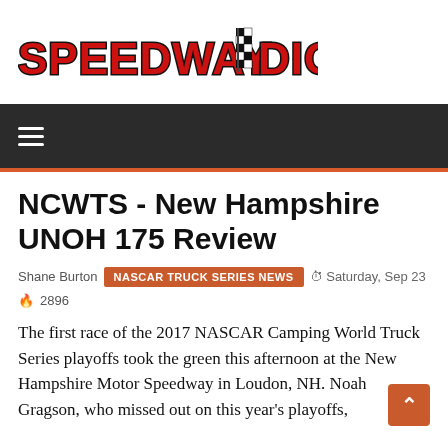[Figure (logo): Speedway Digest logo with red bold text and checkered flag icon]
NCWTS - New Hampshire UNOH 175 Review
Shane Burton  NASCAR TRUCK SERIES NEWS  Saturday, Sep 23  2896
The first race of the 2017 NASCAR Camping World Truck Series playoffs took the green this afternoon at the New Hampshire Motor Speedway in Loudon, NH. Noah Gragson, who missed out on this year's playoffs,